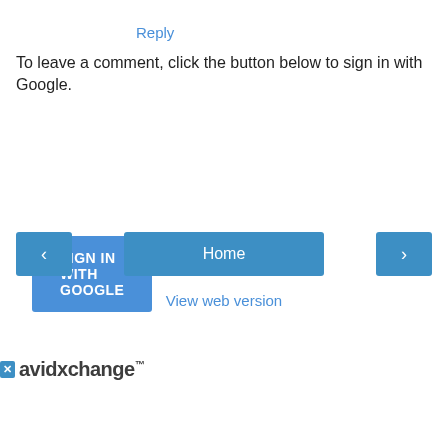Reply
To leave a comment, click the button below to sign in with Google.
[Figure (screenshot): Blue 'SIGN IN WITH GOOGLE' button]
[Figure (screenshot): Navigation bar with left arrow button, Home button, and right arrow button]
View web version
[Figure (logo): AvidXchange advertisement logo with play and close controls]